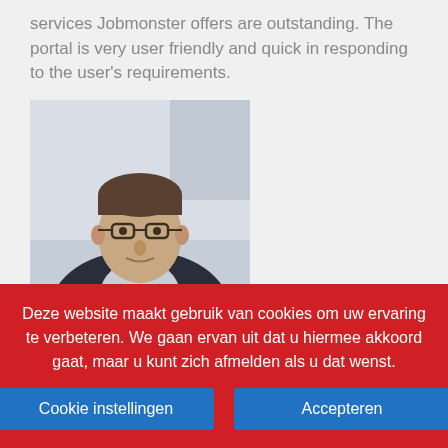services Jobmonster offers are outstanding. The portal is very user friendly and quick in responding to the user's requirements.
[Figure (photo): Portrait photo of a young man with glasses wearing a dark blazer, seated indoors]
JOHNNY SANDERS
Branding Manage – Fliplist.com
Jobmonster is a great platform for talent sourcing, a wide
Deze website maakt gebruik van cookies om uw ervaring te verbeteren. We gaan ervan uit dat u hiermee akkoord gaat, maar u kunt zich afmelden als u dat wenst.
Cookie instellingen
Accepteren